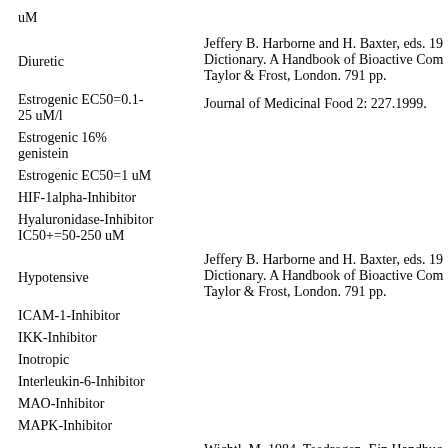uM
Diuretic
Jeffery B. Harborne and H. Baxter, eds. 19 Dictionary. A Handbook of Bioactive Com Taylor & Frost, London. 791 pp.
Estrogenic EC50=0.1-25 uM/l
Journal of Medicinal Food 2: 227.1999.
Estrogenic 16% genistein
Estrogenic EC50=1 uM
HIF-1alpha-Inhibitor
Hyaluronidase-Inhibitor IC50+=50-250 uM
Hypotensive
Jeffery B. Harborne and H. Baxter, eds. 19 Dictionary. A Handbook of Bioactive Com Taylor & Frost, London. 791 pp.
ICAM-1-Inhibitor
IKK-Inhibitor
Inotropic
Interleukin-6-Inhibitor
MAO-Inhibitor
MAPK-Inhibitor
Wichtl, M. 1984. Teedrogen. Ein Handbuc